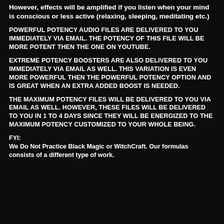However, effects will be amplified if you listen when your mind is conscious or less active (relaxing, sleeping, meditating etc.)
POWERFUL POTENCY AUDIO FILES ARE DELIVERED TO YOU IMMEDIATELY VIA EMAIL. THE POTENCY OF THIS FILE WILL BE MORE POTENT THEN THE ONE ON YOUTUBE.
EXTREME POTENCY BOOSTERS ARE ALSO DELIVERED TO YOU IMMEDIATELY VIA EMAIL AS WELL. THIS VARIATION IS EVEN MORE POWERFUL THEN THE POWERFUL POTENCY OPTION AND IS GREAT WHEN AN EXTRA ADDED BOOST IS NEEDED.
THE MAXIMUM POTENCY FILES WILL BE DELIVERED TO YOU VIA EMAIL AS WELL. HOWEVER, THESE FILES WILL BE DELIVERED TO YOU IN 1 TO 4 DAYS SINCE THEY WILL BE ENERGIZED TO THE MAXIMUM POTENCY CUSTOMIZED TO YOUR WHOLE BEING.
FYI:
We Do Not Practice Black Magic or WitchCraft. Our formulas consists of a different type of work.